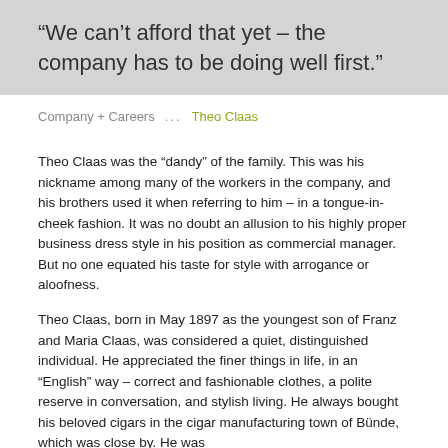“We can’t afford that yet – the company has to be doing well first.”
Company + Careers ... Theo Claas
Theo Claas was the “dandy” of the family. This was his nickname among many of the workers in the company, and his brothers used it when referring to him – in a tongue-in-cheek fashion. It was no doubt an allusion to his highly proper business dress style in his position as commercial manager. But no one equated his taste for style with arrogance or aloofness.
Theo Claas, born in May 1897 as the youngest son of Franz and Maria Claas, was considered a quiet, distinguished individual. He appreciated the finer things in life, in an “English” way – correct and fashionable clothes, a polite reserve in conversation, and stylish living. He always bought his beloved cigars in the cigar manufacturing town of Bünde, which was close by. He was